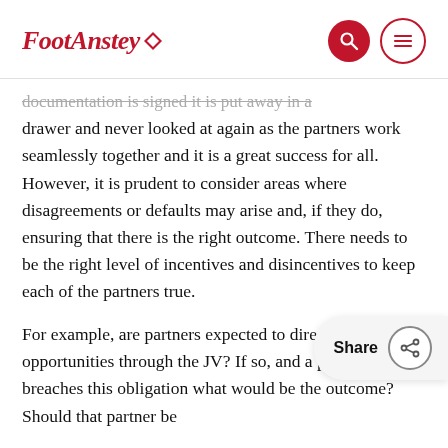FootAnstey
documentation is signed it is put away in a drawer and never looked at again as the partners work seamlessly together and it is a great success for all. However, it is prudent to consider areas where disagreements or defaults may arise and, if they do, ensuring that there is the right outcome. There needs to be the right level of incentives and disincentives to keep each of the partners true.
For example, are partners expected to direct all new opportunities through the JV? If so, and a partner breaches this obligation what would be the outcome? Should that partner be